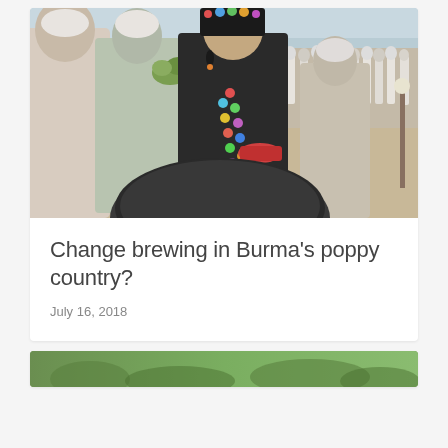[Figure (photo): Photograph of people in traditional ethnic minority costumes at an outdoor gathering in Burma/Myanmar. A woman in black clothing with colorful pom-pom decorations and a black hat holds a red bowl. Men in white clothing and white head wraps stand nearby. A large dark gong or drum is visible in the foreground.]
Change brewing in Burma's poppy country?
July 16, 2018
[Figure (photo): Partial view of a second article card with a green outdoor/landscape photo at the bottom of the page.]